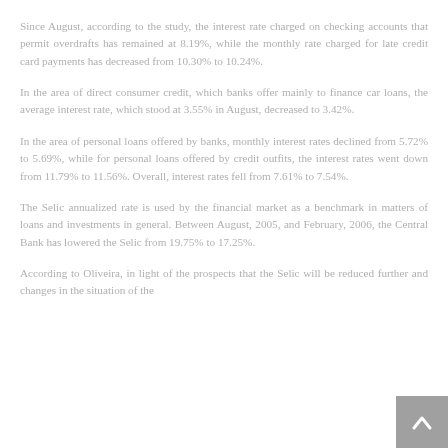Since August, according to the study, the interest rate charged on checking accounts that permit overdrafts has remained at 8.19%, while the monthly rate charged for late credit card payments has decreased from 10.30% to 10.24%.
In the area of direct consumer credit, which banks offer mainly to finance car loans, the average interest rate, which stood at 3.55% in August, decreased to 3.42%.
In the area of personal loans offered by banks, monthly interest rates declined from 5.72% to 5.69%, while for personal loans offered by credit outfits, the interest rates went down from 11.79% to 11.56%. Overall, interest rates fell from 7.61% to 7.54%.
The Selic annualized rate is used by the financial market as a benchmark in matters of loans and investments in general. Between August, 2005, and February, 2006, the Central Bank has lowered the Selic from 19.75% to 17.25%.
According to Oliveira, in light of the prospects that the Selic will be reduced further and changes in the situation of the